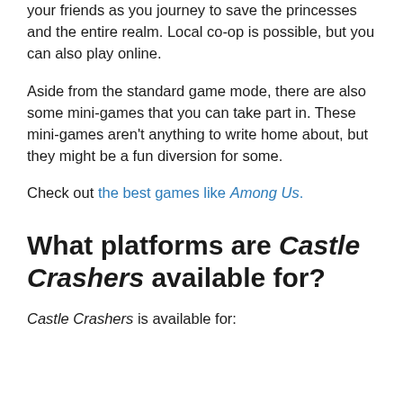your friends as you journey to save the princesses and the entire realm. Local co-op is possible, but you can also play online.
Aside from the standard game mode, there are also some mini-games that you can take part in. These mini-games aren't anything to write home about, but they might be a fun diversion for some.
Check out the best games like Among Us.
What platforms are Castle Crashers available for?
Castle Crashers is available for: